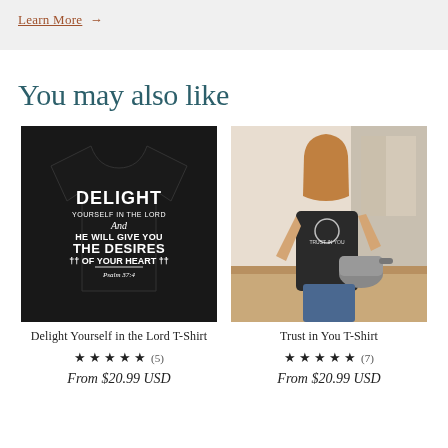Learn More →
You may also like
[Figure (photo): Black t-shirt with white text reading DELIGHT YOURSELF IN THE LORD And HE WILL GIVE YOU THE DESIRES OF YOUR HEART Psalm 37:4]
Delight Yourself in the Lord T-Shirt
★ ★ ★ ★ ★ (5)
From $20.99 USD
[Figure (photo): Woman in kitchen pouring from kettle wearing a black t-shirt with Trust in You text]
Trust in You T-Shirt
★ ★ ★ ★ ★ (7)
From $20.99 USD